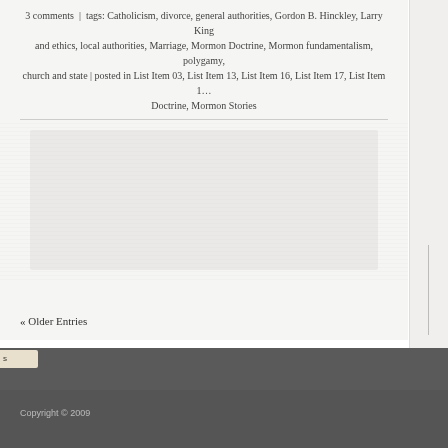3 comments  |  tags: Catholicism, divorce, general authorities, Gordon B. Hinckley, Larry King, and ethics, local authorities, Marriage, Mormon Doctrine, Mormon fundamentalism, polygamy, church and state | posted in List Item 03, List Item 13, List Item 16, List Item 17, List Item 1…, Doctrine, Mormon Stories
[Figure (photo): Faded/washed-out image, mostly white with very light gray tones, barely visible content]
« Older Entries
Copyright © 2009